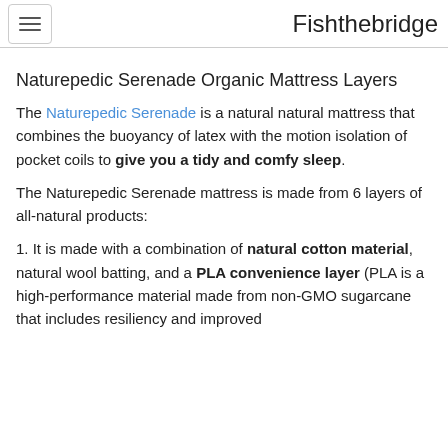Fishthebridge
Naturepedic Serenade Organic Mattress Layers
The Naturepedic Serenade is a natural natural mattress that combines the buoyancy of latex with the motion isolation of pocket coils to give you a tidy and comfy sleep.
The Naturepedic Serenade mattress is made from 6 layers of all-natural products:
1. It is made with a combination of natural cotton material, natural wool batting, and a PLA convenience layer (PLA is a high-performance material made from non-GMO sugarcane that includes resiliency and improved